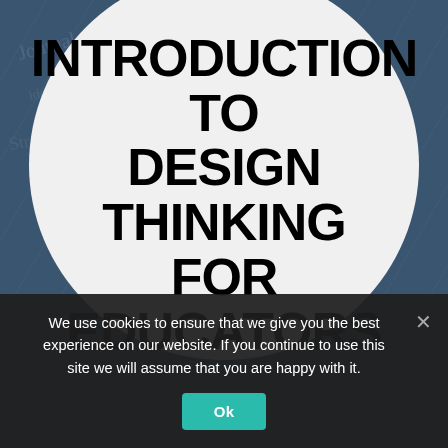[Figure (illustration): Dark blue background with faint handwriting/notebook texture. A large light gray circle is centered on the upper portion containing bold black uppercase text 'INTRODUCTION TO DESIGN THINKING FOR EDUCATORS'.]
INTRODUCTION TO DESIGN THINKING FOR EDUCATORS
We use cookies to ensure that we give you the best experience on our website. If you continue to use this site we will assume that you are happy with it.